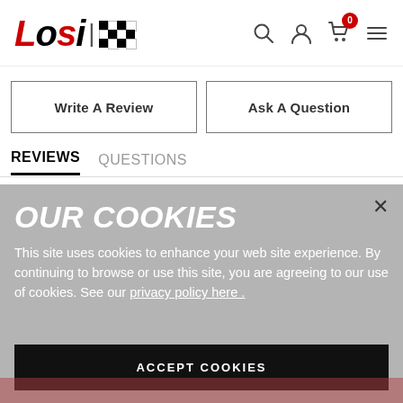[Figure (logo): Losi brand logo with italic bold text and checkered flag pattern]
Write A Review
Ask A Question
REVIEWS
QUESTIONS
OUR COOKIES
This site uses cookies to enhance your web site experience. By continuing to browse or use this site, you are agreeing to our use of cookies. See our privacy policy here .
ACCEPT COOKIES